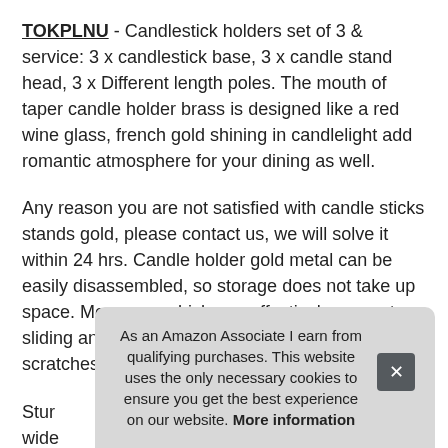TOKPLNU - Candlestick holders set of 3 & service: 3 x candlestick base, 3 x candle stand head, 3 x Different length poles. The mouth of taper candle holder brass is designed like a red wine glass, french gold shining in candlelight add romantic atmosphere for your dining as well.
Any reason you are not satisfied with candle sticks stands gold, please contact us, we will solve it within 24 hrs. Candle holder gold metal can be easily disassembled, so storage does not take up space. Moreover, which can effectively prevent sliding and protect furniture surface from getting scratches.
Sturdy ... wide ... tape ...
As an Amazon Associate I earn from qualifying purchases. This website uses the only necessary cookies to ensure you get the best experience on our website. More information